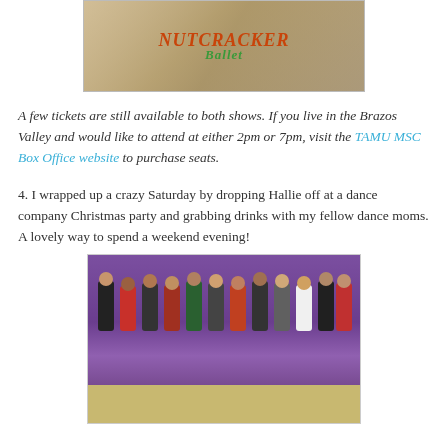[Figure (photo): Nutcracker Ballet promotional image with stylized text showing 'Nutcracker Ballet' in orange and green lettering with a dancer figure]
A few tickets are still available to both shows. If you live in the Brazos Valley and would like to attend at either 2pm or 7pm, visit the TAMU MSC Box Office website to purchase seats.
4. I wrapped up a crazy Saturday by dropping Hallie off at a dance company Christmas party and grabbing drinks with my fellow dance moms. A lovely way to spend a weekend evening!
[Figure (photo): Group photo of young girls (dance company members) posing together in front of a purple wall at a Christmas party, with a wooden floor visible]